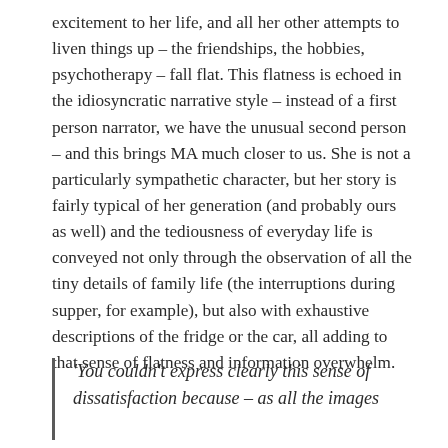excitement to her life, and all her other attempts to liven things up – the friendships, the hobbies, psychotherapy – fall flat. This flatness is echoed in the idiosyncratic narrative style – instead of a first person narrator, we have the unusual second person – and this brings MA much closer to us. She is not a particularly sympathetic character, but her story is fairly typical of her generation (and probably ours as well) and the tediousness of everyday life is conveyed not only through the observation of all the tiny details of family life (the interruptions during supper, for example), but also with exhaustive descriptions of the fridge or the car, all adding to that sense of flatness and information overwhelm.
'You couldn't express clearly this sense of dissatisfaction because – as all the images